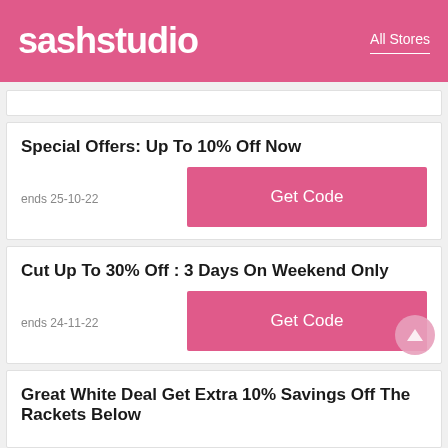sashstudio | All Stores
Special Offers: Up To 10% Off Now
ends 25-10-22
Cut Up To 30% Off : 3 Days On Weekend Only
ends 24-11-22
Great White Deal Get Extra 10% Savings Off The Rackets Below